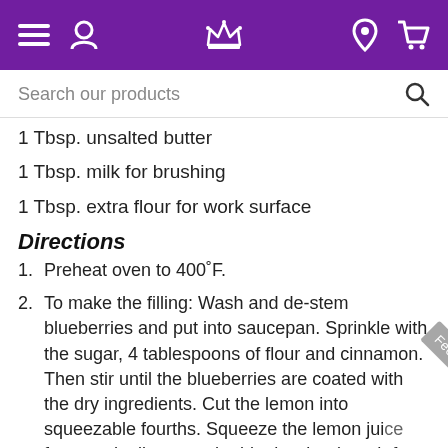Navigation bar with menu, user, crown logo, location, and cart icons
Search our products
1 Tbsp. unsalted butter
1 Tbsp. milk for brushing
1 Tbsp. extra flour for work surface
Directions
1. Preheat oven to 400˚F.
2. To make the filling: Wash and de-stem blueberries and put into saucepan. Sprinkle with the sugar, 4 tablespoons of flour and cinnamon. Then stir until the blueberries are coated with the dry ingredients. Cut the lemon into squeezable fourths. Squeeze the lemon juice from each slice onto the blueberries (watch for seeds)